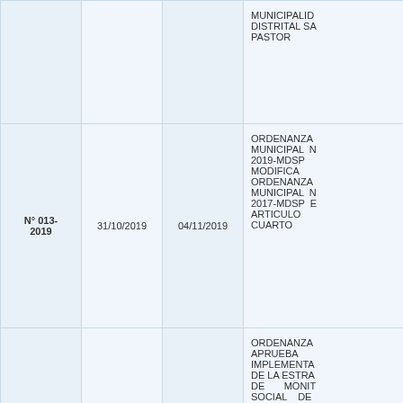|  |  |  | MUNICIPALIDAD DISTRITAL SA... PASTOR |
| N° 013-2019 | 31/10/2019 | 04/11/2019 | ORDENANZA MUNICIPAL N... 2019-MDSP MODIFICA ORDENANZA MUNICIPAL N... 2017-MDSP EL ARTICULO CUARTO |
| N° 012- |  |  | ORDENANZA APRUEBA IMPLEMENTA... DE LA ESTRA... DE MONIT... SOCIAL DE PRESTACION... DE PROGRAMAS SOCIALES... |